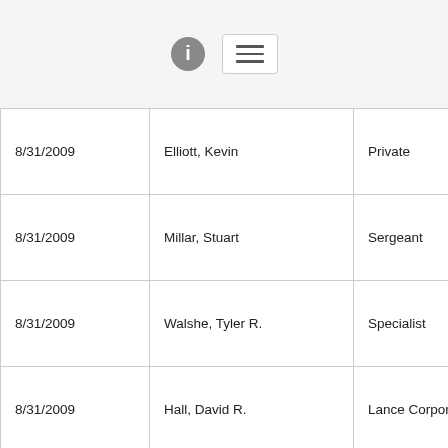[Figure (other): Page header with info icon and hamburger menu button]
| Date | Name | Rank | Country |
| --- | --- | --- | --- |
| 8/31/2009 | Elliott, Kevin | Private | United Kingdom |
| 8/31/2009 | Millar, Stuart | Sergeant | United Kingdom |
| 8/31/2009 | Walshe, Tyler R. | Specialist | United States |
| 8/31/2009 | Hall, David R. | Lance Corporal | United States |
| 8/31/2009 | Brochu, Jordan M. | Private 1st Class | United States |
| 8/31/2009 |  |  |  |